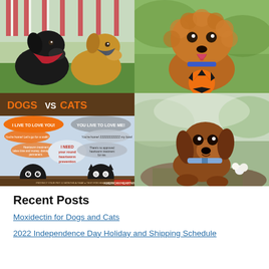[Figure (photo): Two dogs sitting on grass with American flags in background — a black Labrador with red bandana and a golden retriever]
[Figure (photo): Curly brown/orange Doodle dog with tongue out holding an orange soccer ball]
[Figure (infographic): Dogs vs Cats infographic about heartworm prevention from American Heartworm Society, showing cartoon dog and cat with speech bubbles]
[Figure (photo): Young dachshund puppy with blue collar sitting outdoors on mossy rocks with white flowers]
Recent Posts
Moxidectin for Dogs and Cats
2022 Independence Day Holiday and Shipping Schedule